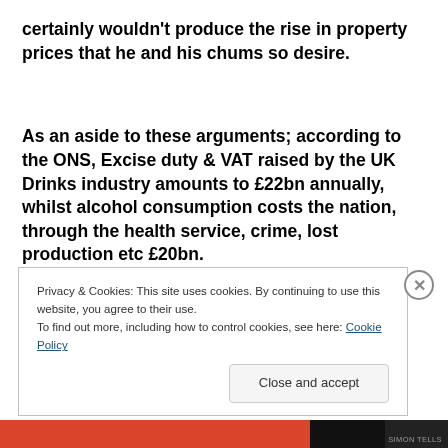certainly wouldn't produce the rise in property prices that he and his chums so desire.
As an aside to these arguments; according to the ONS, Excise duty & VAT raised by the UK Drinks industry amounts to £22bn annually, whilst alcohol consumption costs the nation, through the health service, crime, lost production etc £20bn.
Privacy & Cookies: This site uses cookies. By continuing to use this website, you agree to their use.
To find out more, including how to control cookies, see here: Cookie Policy